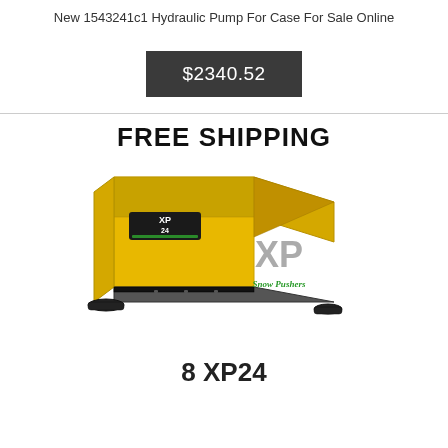New 1543241c1 Hydraulic Pump For Case For Sale Online
$2340.52
[Figure (photo): Yellow XP24 snow pusher attachment with FREE SHIPPING text above and XP Snow Pushers logo to the right]
8 XP24